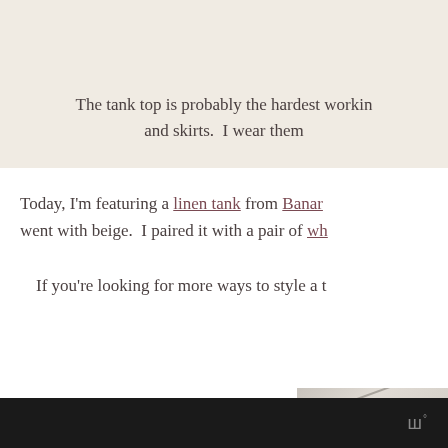The tank top is probably the hardest workin and skirts.  I wear them
Today, I'm featuring a linen tank from Banan went with beige.  I paired it with a pair of wh
If you're looking for more ways to style a t
[Figure (photo): Partial photo of a fashion outfit, light tones, cropped at bottom of page]
ш°